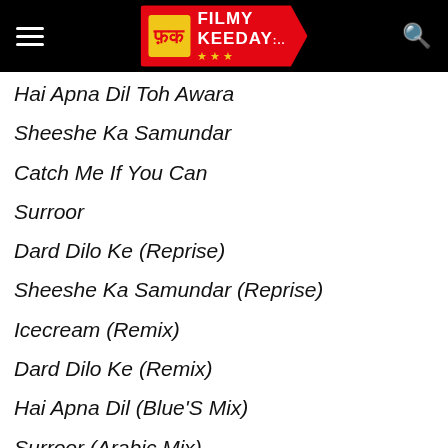Filmy Keeday logo and navigation header
Hai Apna Dil Toh Awara
Sheeshe Ka Samundar
Catch Me If You Can
Surroor
Dard Dilo Ke (Reprise)
Sheeshe Ka Samundar (Reprise)
Icecream (Remix)
Dard Dilo Ke (Remix)
Hai Apna Dil (Blue'S Mix)
Surroor (Arabic Mix)
Catch Me If You Can (Remix)
Hai Apna Dil (Desi Remix)
Sheeshe Ka Samundar (Remix)
Surroor (Remix)
Theme of Xpose
The Indian Beat Catch...